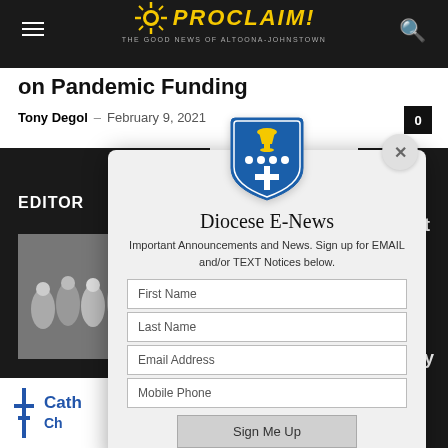PROCLAIM! THE GOOD NEWS OF ALTOONA-JOHNSTOWN
on Pandemic Funding
Tony Degol - February 9, 2021
EDITOR
Gift
istry
[Figure (screenshot): Diocese E-News email signup modal overlay with crest logo, text fields for First Name, Last Name, Email Address, Mobile Phone, and a Sign Me Up button]
Cath Ch
0